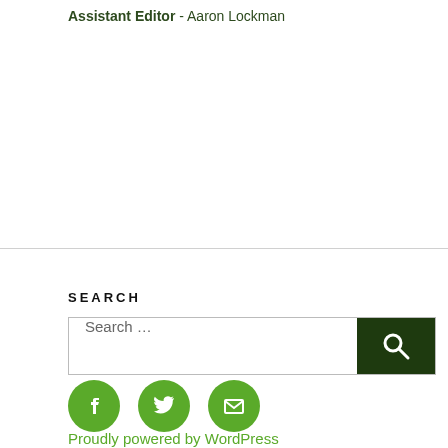Assistant Editor - Aaron Lockman
SEARCH
[Figure (screenshot): Search bar with text 'Search ...' and a dark green search button with magnifying glass icon]
[Figure (infographic): Three green circular social media icons: Facebook (f), Twitter (bird), and Email (envelope)]
Proudly powered by WordPress